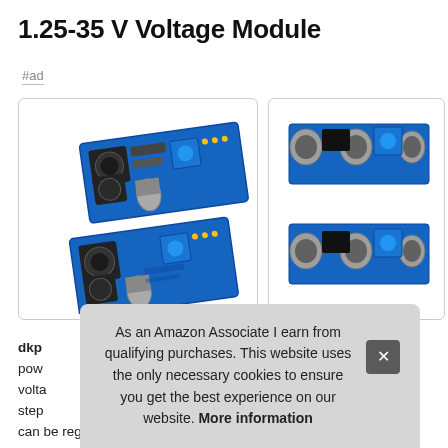1.25-35 V Voltage Module
#ad
[Figure (photo): Two blue voltage regulator circuit boards (LM2596 step-down modules) stacked diagonally, showing inductors, capacitors, and blue potentiometer]
[Figure (photo): Two voltage regulator boards shown from a top-down view with gray cylindrical capacitors and blue potentiometer visible]
dkp... pow... volta... step... can be regulated any voltage output.
As an Amazon Associate I earn from qualifying purchases. This website uses the only necessary cookies to ensure you get the best experience on our website. More information